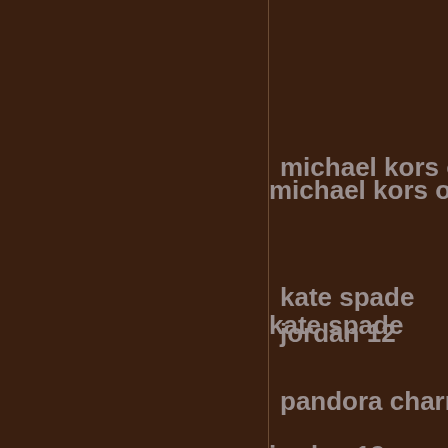michael kors ou
kate spade
jordan 12
pandora charn